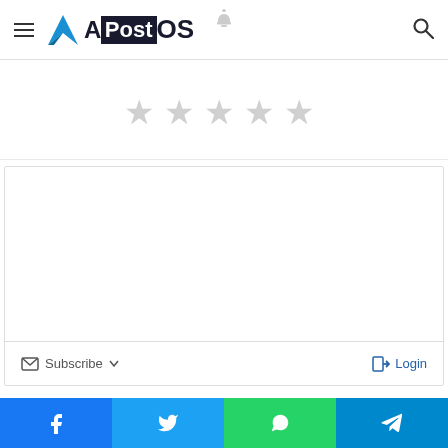APostOS
[Figure (other): Five empty star rating widgets displayed in a row]
[Figure (other): Comment box with Subscribe and Login controls]
0 COMMENTS
[Figure (other): Sort icons row with lightning bolt and fire icons, colored progress bars, and green scroll-up button]
[Figure (other): Social share bar with Facebook, Twitter, WhatsApp, and Telegram buttons]